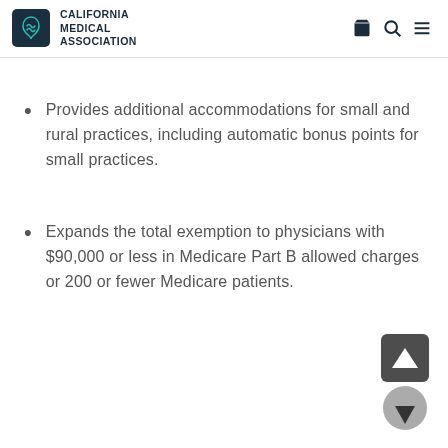CALIFORNIA MEDICAL ASSOCIATION
Provides additional accommodations for small and rural practices, including automatic bonus points for small practices.
Expands the total exemption to physicians with $90,000 or less in Medicare Part B allowed charges or 200 or fewer Medicare patients.